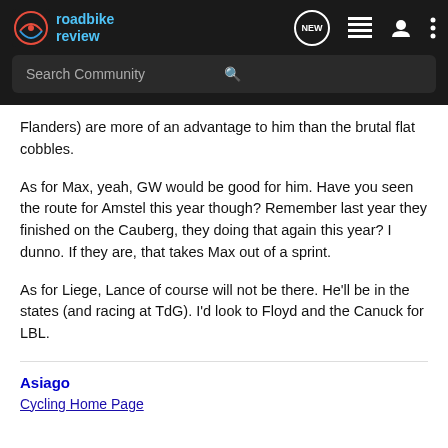roadbike review — Search Community
Flanders) are more of an advantage to him than the brutal flat cobbles.
As for Max, yeah, GW would be good for him. Have you seen the route for Amstel this year though? Remember last year they finished on the Cauberg, they doing that again this year? I dunno. If they are, that takes Max out of a sprint.
As for Liege, Lance of course will not be there. He'll be in the states (and racing at TdG). I'd look to Floyd and the Canuck for LBL.
Asiago
Cycling Home Page